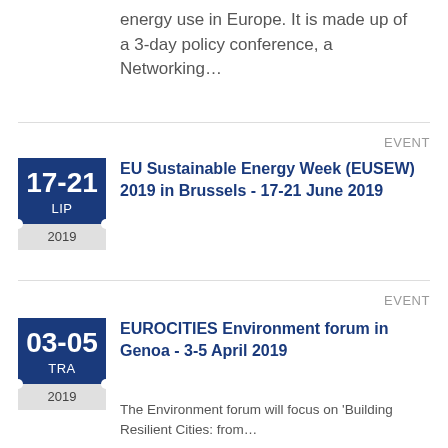energy use in Europe. It is made up of a 3-day policy conference, a Networking…
EVENT
[Figure (other): Ticket badge showing dates 17-21, month LIP, year 2019]
EU Sustainable Energy Week (EUSEW) 2019 in Brussels - 17-21 June 2019
EVENT
[Figure (other): Ticket badge showing dates 03-05, month TRA, year 2019]
EUROCITIES Environment forum in Genoa - 3-5 April 2019
The Environment forum will focus on 'Building Resilient Cities: from…